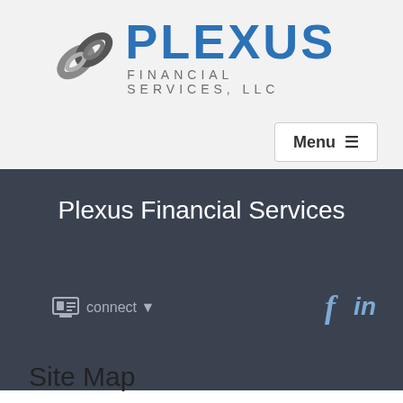[Figure (logo): Plexus Financial Services LLC logo with chain-link icon in blue and grey, with text PLEXUS in bold blue and FINANCIAL SERVICES, LLC in grey below]
Menu ☰
Plexus Financial Services
connect ▼
[Figure (illustration): Facebook and LinkedIn social media icons in light blue]
Site Map